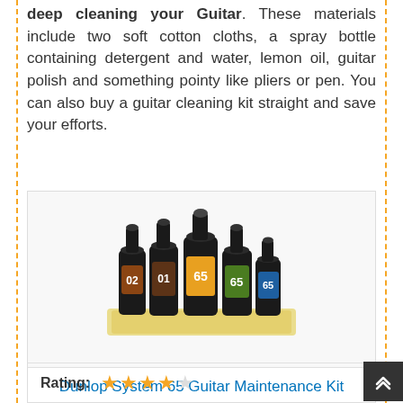deep cleaning your Guitar. These materials include two soft cotton cloths, a spray bottle containing detergent and water, lemon oil, guitar polish and something pointy like pliers or pen. You can also buy a guitar cleaning kit straight and save your efforts.
[Figure (photo): Photo of Dunlop System 65 Guitar Maintenance Kit — five black bottles of varying sizes labeled 02, 01, 65, 65, 65 arranged on a yellow cloth]
Dunlop System 65 Guitar Maintenance Kit
Rating: ★★★★☆